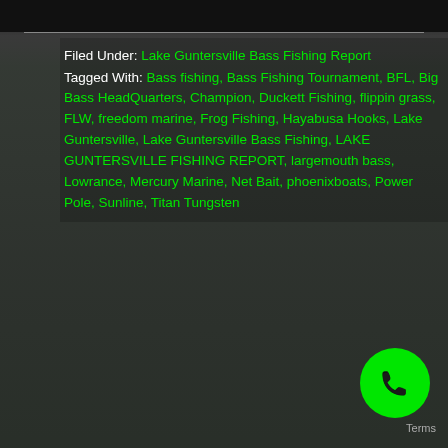[Figure (photo): Two anglers standing in front of a fishing tournament banner/trailer backdrop, one holding a large bass fish. Dark outdoor setting near water.]
Filed Under: Lake Guntersville Bass Fishing Report
Tagged With: Bass fishing, Bass Fishing Tournament, BFL, Big Bass HeadQuarters, Champion, Duckett Fishing, flippin grass, FLW, freedom marine, Frog Fishing, Hayabusa Hooks, Lake Guntersville, Lake Guntersville Bass Fishing, LAKE GUNTERSVILLE FISHING REPORT, largemouth bass, Lowrance, Mercury Marine, Net Bait, phoenixboats, Power Pole, Sunline, Titan Tungsten